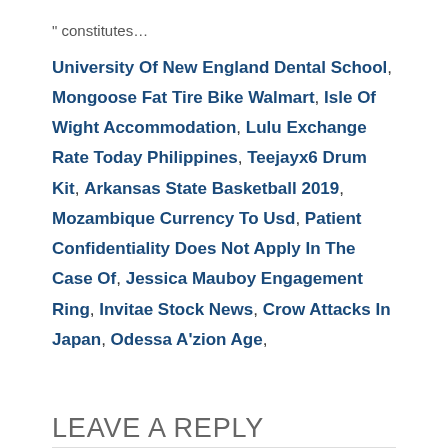" constitutes…
University Of New England Dental School, Mongoose Fat Tire Bike Walmart, Isle Of Wight Accommodation, Lulu Exchange Rate Today Philippines, Teejayx6 Drum Kit, Arkansas State Basketball 2019, Mozambique Currency To Usd, Patient Confidentiality Does Not Apply In The Case Of, Jessica Mauboy Engagement Ring, Invitae Stock News, Crow Attacks In Japan, Odessa A'zion Age,
LEAVE A REPLY
Your email address will not be published. Required fields are marked *
Comment